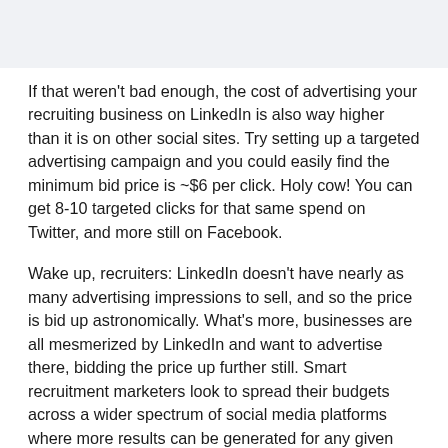If that weren't bad enough, the cost of advertising your recruiting business on LinkedIn is also way higher than it is on other social sites. Try setting up a targeted advertising campaign and you could easily find the minimum bid price is ~$6 per click. Holy cow! You can get 8-10 targeted clicks for that same spend on Twitter, and more still on Facebook.
Wake up, recruiters: LinkedIn doesn't have nearly as many advertising impressions to sell, and so the price is bid up astronomically. What's more, businesses are all mesmerized by LinkedIn and want to advertise there, bidding the price up further still. Smart recruitment marketers look to spread their budgets across a wider spectrum of social media platforms where more results can be generated for any given spend.